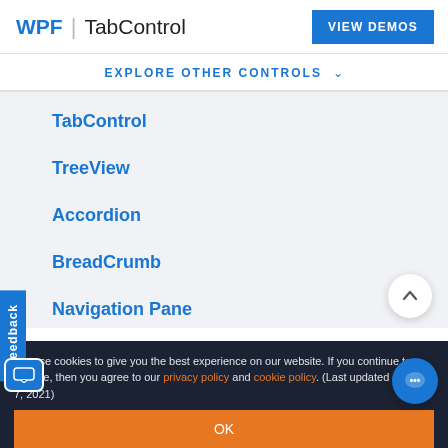WPF | TabControl  VIEW DEMOS
EXPLORE OTHER CONTROLS
TabControl
TreeView
Accordion
BreadCrumb
Navigation Pane
Menu
Navigation Drawer
Feedback
We use cookies to give you the best experience on our website. If you continue to browse, then you agree to our privacy policy and cookie policy. (Last updated on: April 7, 2021)
OK